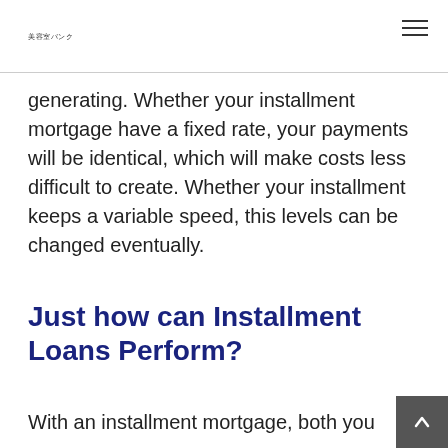美容室バンク
generating. Whether your installment mortgage have a fixed rate, your payments will be identical, which will make costs less difficult to create. Whether your installment keeps a variable speed, this levels can be changed eventually.
Just how can Installment Loans Perform?
With an installment mortgage, both you